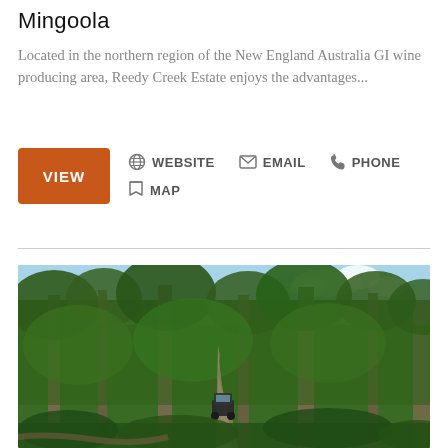Mingoola
Located in the northern region of the New England Australia GI wine producing area, Reedy Creek Estate enjoys the advantages...
VIEW | WEBSITE | EMAIL | PHONE | MAP
[Figure (photo): A 4WD vehicle driving along a dirt track through dense green forest with tall eucalyptus trees and lush undergrowth, under a partly cloudy sky.]